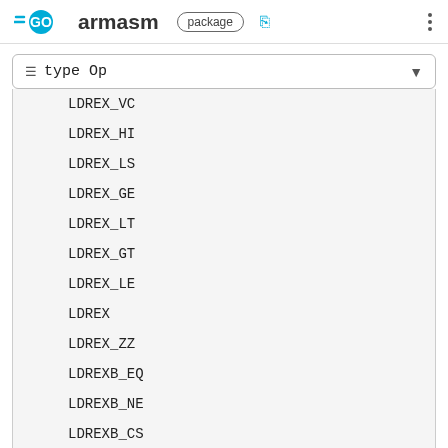GO armasm package
type Op
LDREX_VC
LDREX_HI
LDREX_LS
LDREX_GE
LDREX_LT
LDREX_GT
LDREX_LE
LDREX
LDREX_ZZ
LDREXB_EQ
LDREXB_NE
LDREXB_CS
LDREXB_CC
LDREXB_MI
LDREXB_PL
LDREXB_VS
LDREXB_VC